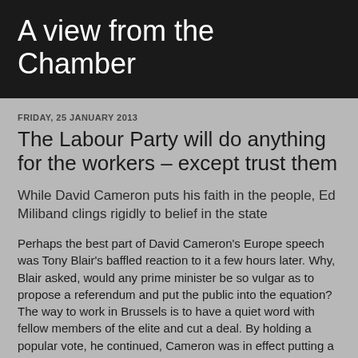A view from the Chamber
FRIDAY, 25 JANUARY 2013
The Labour Party will do anything for the workers – except trust them
While David Cameron puts his faith in the people, Ed Miliband clings rigidly to belief in the state
Perhaps the best part of David Cameron's Europe speech was Tony Blair's baffled reaction to it a few hours later. Why, Blair asked, would any prime minister be so vulgar as to propose a referendum and put the public into the equation? The way to work in Brussels is to have a quiet word with fellow members of the elite and cut a deal. By holding a popular vote, he continued, Cameron was in effect putting a gun to his own head and declaring: "If you don't do what I want, I'll blow my brains out." To Blair, the British public…